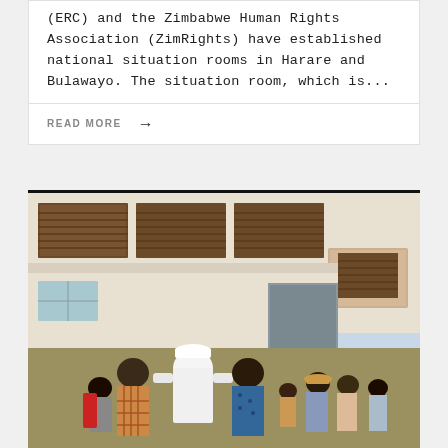(ERC) and the Zimbabwe Human Rights Association (ZimRights) have established national situation rooms in Harare and Bulawayo. The situation room, which is...
READ MORE →
[Figure (photo): A group of people standing outside a two-storey building with louvered windows and white walls. One person in the foreground wears a white cap and white shirt. Several people are gathered near the entrance of the building.]